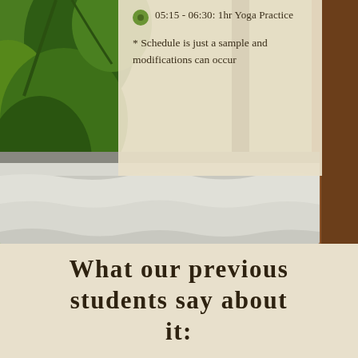[Figure (photo): Outdoor photo showing tropical green foliage and a wooden pergola structure with a white fabric canopy or table below, in a retreat or resort setting.]
05:15 - 06:30: 1hr Yoga Practice
* Schedule is just a sample and modifications can occur
What our previous students say about it: